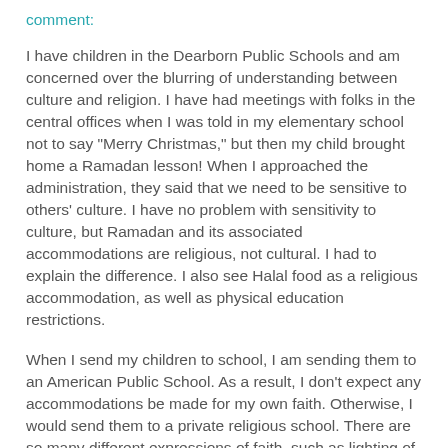comment:
I have children in the Dearborn Public Schools and am concerned over the blurring of understanding between culture and religion. I have had meetings with folks in the central offices when I was told in my elementary school not to say "Merry Christmas," but then my child brought home a Ramadan lesson! When I approached the administration, they said that we need to be sensitive to others' culture. I have no problem with sensitivity to culture, but Ramadan and its associated accommodations are religious, not cultural. I had to explain the difference. I also see Halal food as a religious accommodation, as well as physical education restrictions.
When I send my children to school, I am sending them to an American Public School. As a result, I don't expect any accommodations be made for my own faith. Otherwise, I would send them to a private religious school. There are so many different expressions of faith, such as lighting of novena candles, Buddhist chanting, Christian evangelizing, etc. that would not and should not be practiced in the